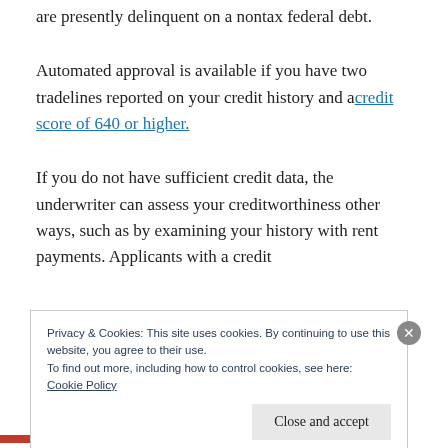are presently delinquent on a nontax federal debt.
Automated approval is available if you have two tradelines reported on your credit history and a credit score of 640 or higher.
If you do not have sufficient credit data, the underwriter can assess your creditworthiness other ways, such as by examining your history with rent payments. Applicants with a credit
Privacy & Cookies: This site uses cookies. By continuing to use this website, you agree to their use.
To find out more, including how to control cookies, see here:
Cookie Policy
Close and accept